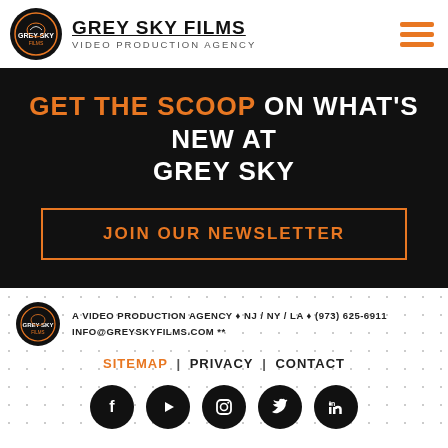GREY SKY FILMS - VIDEO PRODUCTION AGENCY
GET THE SCOOP ON WHAT'S NEW AT GREY SKY
JOIN OUR NEWSLETTER
A VIDEO PRODUCTION AGENCY ♦ NJ / NY / LA ♦ (973) 625-6911 INFO@GREYSKYFILMS.COM **
SITEMAP | PRIVACY | CONTACT